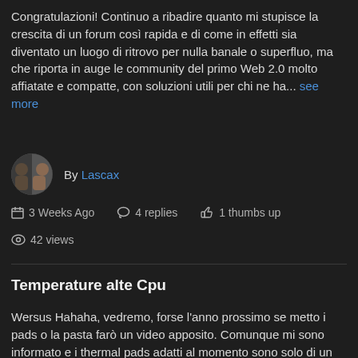Congratulazioni! Continuo a ribadire quanto mi stupisce la crescita di un forum così rapida e di come in effetti sia diventato un luogo di ritrovo per nulla banale o superfluo, ma che riporta in auge le community del primo Web 2.0 molto affiatate e compatte, con soluzioni utili per chi ne ha... see more
By Lascax
3 Weeks Ago   4 replies   1 thumbs up
42 views
Temperature alte Cpu
Wersus Hahaha, vedremo, forse l'anno prossimo se metto i pads o la pasta farò un video apposito. Comunque mi sono informato e i thermal pads adatti al momento sono solo di un tipo e vengono dall'Asia ( perchè devono essere sottili abbastanza ). Direi che chi vuole fare un tentativo è meglio che... see more